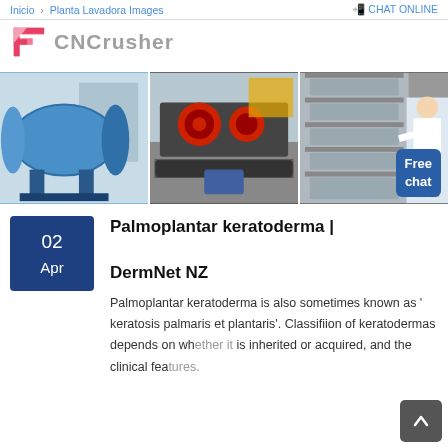Inicio > Planta Lavadora Images   CHAT ONLINE
[Figure (logo): CNCrusher logo with stylized F icon in red/white and grey CNCrusher text]
[Figure (photo): Three industrial mining/crushing machine photos side by side: blue ball mill, crusher/conveyor machinery, and stacked industrial equipment with woman in white coat. Free chat button overlay on bottom right.]
02 Apr
Palmoplantar keratoderma | DermNet NZ
Palmoplantar keratoderma is also sometimes known as ' keratosis palmaris et plantaris'. Classifiion of keratodermas depends on whether it is inherited or acquired, and the clinical features.